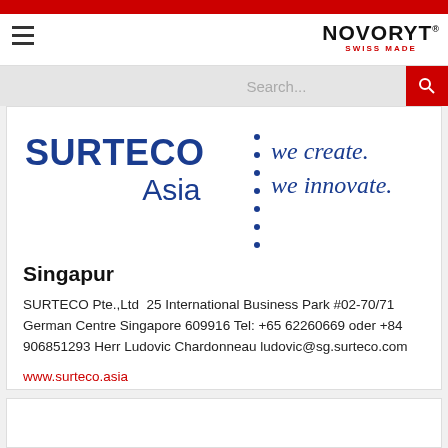NOVORYT® SWISS MADE
[Figure (logo): SURTECO Asia logo with blue text and dotted divider and italic tagline 'we create. we innovate.' in blue]
Singapur
SURTECO Pte.,Ltd  25 International Business Park #02-70/71 German Centre Singapore 609916 Tel: +65 62260669 oder +84 906851293 Herr Ludovic Chardonneau ludovic@sg.surteco.com
www.surteco.asia